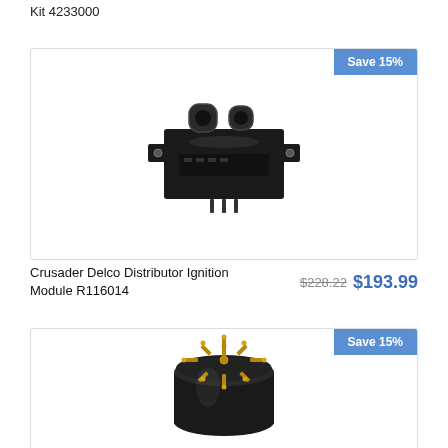Kit 4233000
[Figure (photo): Crusader Delco Distributor Ignition Module R116014 - black electronic ignition module component with connectors]
Save 15%
Crusader Delco Distributor Ignition Module R116014
$228.22 $193.99
[Figure (photo): Black cylindrical distributor cap with gold terminals on top, viewed from above]
Save 15%